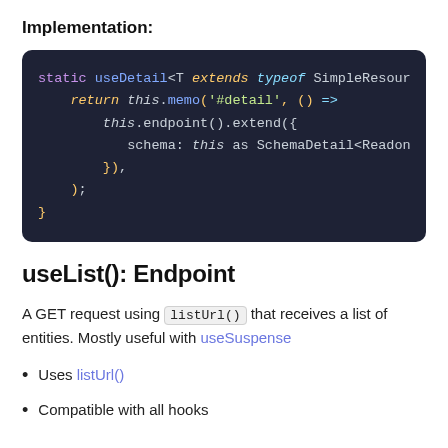Implementation:
[Figure (screenshot): Code block on dark background showing TypeScript static useDetail method implementation with syntax highlighting]
useList(): Endpoint
A GET request using listUrl() that receives a list of entities. Mostly useful with useSuspense
Uses listUrl()
Compatible with all hooks